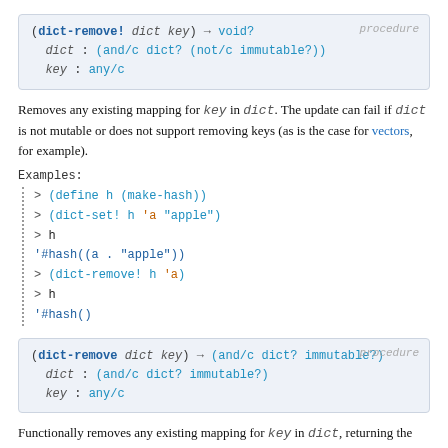(dict-remove! dict key) → void?   procedure
  dict : (and/c dict? (not/c immutable?))
  key : any/c
Removes any existing mapping for key in dict. The update can fail if dict is not mutable or does not support removing keys (as is the case for vectors, for example).
Examples:
> (define h (make-hash))
> (dict-set! h 'a "apple")
> h
'#hash((a . "apple"))
> (dict-remove! h 'a)
> h
'#hash()
(dict-remove dict key) → (and/c dict? immutable?)   procedure
  dict : (and/c dict? immutable?)
  key : any/c
Functionally removes any existing mapping for key in dict, returning the fresh dictionary. The update can fail if dict does not support functional update or does not support removing keys.
Examples: